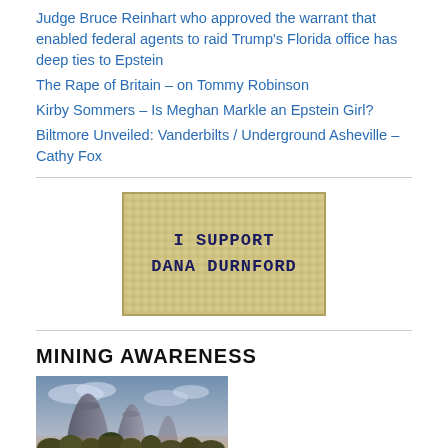Judge Bruce Reinhart who approved the warrant that enabled federal agents to raid Trump's Florida office has deep ties to Epstein
The Rape of Britain – on Tommy Robinson
Kirby Sommers – Is Meghan Markle an Epstein Girl?
Biltmore Unveiled: Vanderbilts / Underground Asheville – Cathy Fox
[Figure (illustration): Button/badge graphic with burlap/textile texture background reading 'I SUPPORT DANA DURNFORD' in dark navy bold letters]
MINING AWARENESS
[Figure (photo): Photo of industrial cooling towers (nuclear or power plant) against a cloudy sunset sky with trees in foreground]